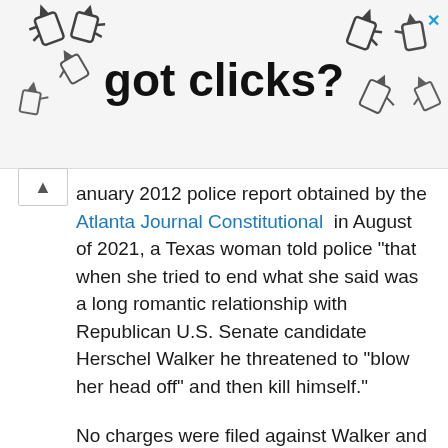[Figure (advertisement): Advertisement banner with cursor/hand pointer icons and text 'got clicks?' with an X close button in the top right corner]
anuary 2012 police report obtained by the Atlanta Journal Constitutional in August of 2021, a Texas woman told police “that when she tried to end what she said was a long romantic relationship with Republican U.S. Senate candidate Herschel Walker he threatened to “blow her head off” and then kill himself.”
No charges were filed against Walker and he denied the claims.
What makes this even sadder is the woman didn’t want to make her statement due to concern about Walker, whom she didn’t want to harm. The officer reportedly took the statement and filed it due to his own alarm. (She is now...